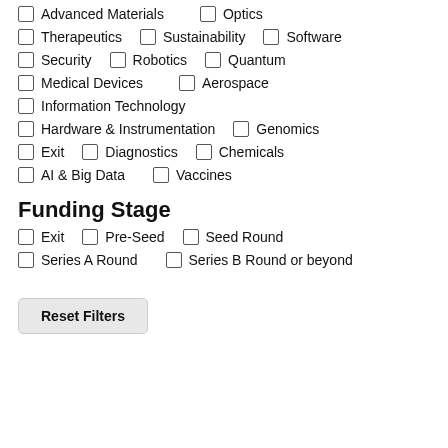Advanced Materials
Optics
Therapeutics
Sustainability
Software
Security
Robotics
Quantum
Medical Devices
Aerospace
Information Technology
Hardware & Instrumentation
Genomics
Exit
Diagnostics
Chemicals
AI & Big Data
Vaccines
Funding Stage
Exit
Pre-Seed
Seed Round
Series A Round
Series B Round or beyond
Reset Filters